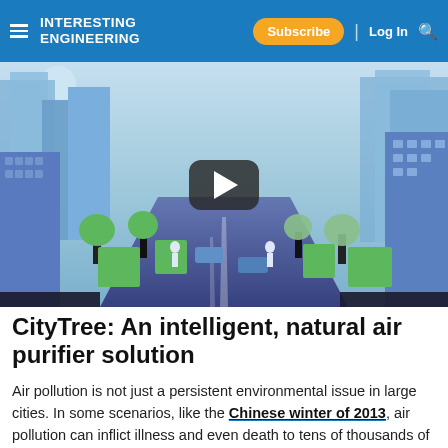INTERESTING ENGINEERING | Subscribe | Log In
[Figure (screenshot): Animated city street illustration used as video thumbnail with YouTube-style play button overlay. Shows blue-toned cityscape with tall buildings, cars on a road, trees, and pedestrians.]
CityTree: An intelligent, natural air purifier solution
Air pollution is not just a persistent environmental issue in large cities. In some scenarios, like the Chinese winter of 2013, air pollution can inflict illness and even death to tens of thousands of city dwellers. Many urban and engineering projects heavily